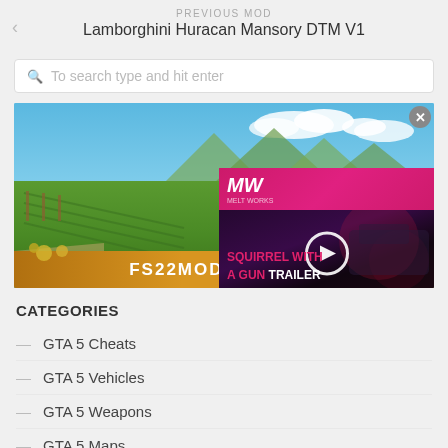PREVIOUS MOD
Lamborghini Huracan Mansory DTM V1
To search type and hit enter
[Figure (photo): Farming Simulator 22 advertisement banner with tractor in a green field, FS22MODHUB.COM text, with a video overlay showing MW logo and 'SQUIRREL WITH A GUN TRAILER']
CATEGORIES
GTA 5 Cheats
GTA 5 Vehicles
GTA 5 Weapons
GTA 5 Maps